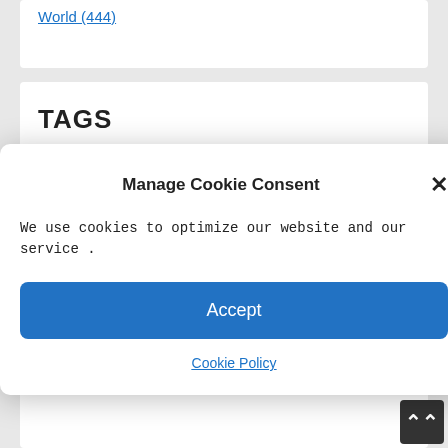World (444)
TAGS
covid (38)
COVID-19 (264)
covid 19 canada (210)
covid 19 ontario (89)
crime (102)
ctv news (115)
dailymail (41)
economy (71)
Energy (30)
Manage Cookie Consent
We use cookies to optimize our website and our service .
Accept
Cookie Policy